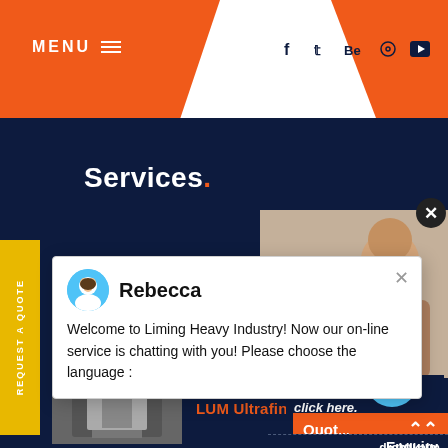MENU  ≡    f  t  Be  ⊕  ▶
Services.
REQUEST A QUOTE
[Figure (screenshot): CS Cone Crusher product listing with grayscale machinery photo]
CS Cone Crusher
[Figure (screenshot): LUM Ultrafine Vertical Roller product listing with photo]
LUM Ultrafine Vertical Roller
[Figure (photo): Chat popup with avatar of Rebecca. Text: Welcome to Liming Heavy Industry! Now our on-line service is chatting with you! Please choose the language :]
Rebecca
Welcome to Liming Heavy Industry! Now our on-line service is chatting with you! Please choose the language :
Have any
click here.
Quote
1
Enquiry
drobilkalm